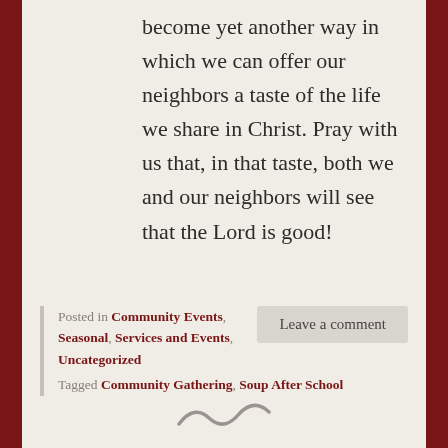become yet another way in which we can offer our neighbors a taste of the life we share in Christ. Pray with us that, in that taste, both we and our neighbors will see that the Lord is good!
Posted in Community Events, Seasonal, Services and Events, Uncategorized   Leave a comment
Tagged Community Gathering, Soup After School
[Figure (illustration): Decorative tilde/swirl divider symbol]